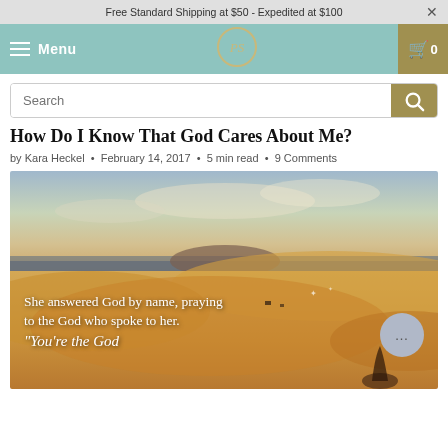Free Standard Shipping at $50 - Expedited at $100
Menu | logo | cart 0
Search
How Do I Know That God Cares About Me?
by Kara Heckel • February 14, 2017 • 5 min read • 9 Comments
[Figure (photo): Desert sand dunes under a dramatic sky at dusk/sunset, with the text overlay: 'She answered God by name, praying to the God who spoke to her.' and italic cursive text beginning 'You're the God']